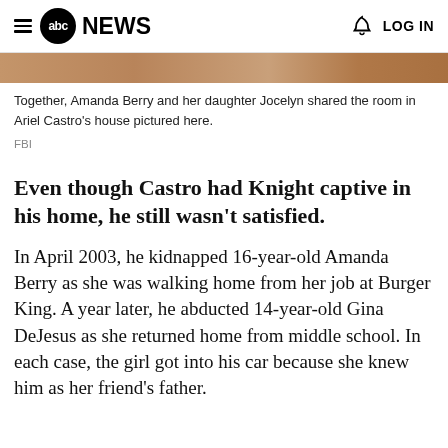abc NEWS  LOG IN
[Figure (photo): Partial view of a room interior, appearing brownish/warm toned, cropped at top of page]
Together, Amanda Berry and her daughter Jocelyn shared the room in Ariel Castro's house pictured here.
FBI
Even though Castro had Knight captive in his home, he still wasn't satisfied.
In April 2003, he kidnapped 16-year-old Amanda Berry as she was walking home from her job at Burger King. A year later, he abducted 14-year-old Gina DeJesus as she returned home from middle school. In each case, the girl got into his car because she knew him as her friend's father.